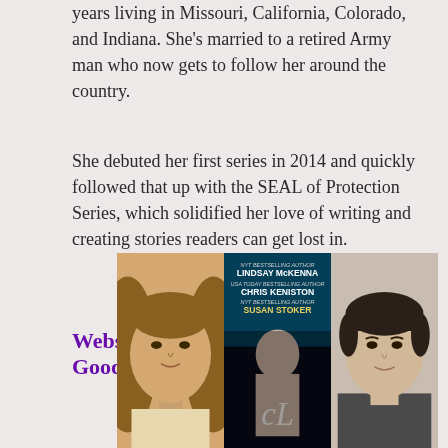years living in Missouri, California, Colorado, and Indiana. She's married to a retired Army man who now gets to follow her around the country.
She debuted her first series in 2014 and quickly followed that up with the SEAL of Protection Series, which solidified her love of writing and creating stories readers can get lost in.
Website | Facebook | Twitter | GoodReads
[Figure (photo): Three images side by side: left shows a man with long blond/brown hair, center shows a book cover with authors Lindsay McKenna, Chris Keniston, and Susan Stoker, right shows a man with short dark hair]